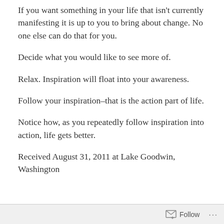If you want something in your life that isn't currently manifesting it is up to you to bring about change. No one else can do that for you.
Decide what you would like to see more of.
Relax. Inspiration will float into your awareness.
Follow your inspiration–that is the action part of life.
Notice how, as you repeatedly follow inspiration into action, life gets better.
Received August 31, 2011 at Lake Goodwin, Washington
Follow  ...